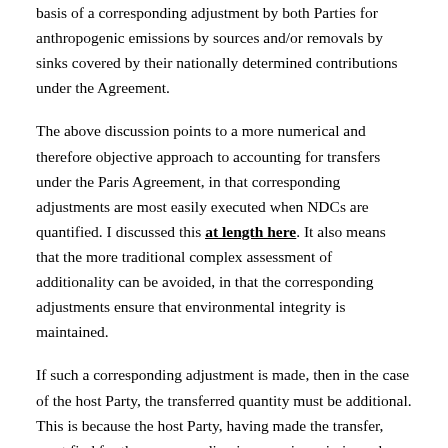basis of a corresponding adjustment by both Parties for anthropogenic emissions by sources and/or removals by sinks covered by their nationally determined contributions under the Agreement.
The above discussion points to a more numerical and therefore objective approach to accounting for transfers under the Paris Agreement, in that corresponding adjustments are most easily executed when NDCs are quantified. I discussed this at length here. It also means that the more traditional complex assessment of additionality can be avoided, in that the corresponding adjustments ensure that environmental integrity is maintained.
If such a corresponding adjustment is made, then in the case of the host Party, the transferred quantity must be additional. This is because the host Party, having made the transfer, must find for the corresponding increase in emissions above what